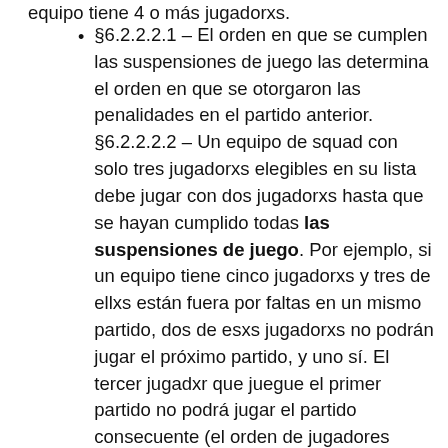equipo tiene 4 o más jugadorxs.
§6.2.2.2.1 – El orden en que se cumplen las suspensiones de juego las determina el orden en que se otorgaron las penalidades en el partido anterior. §6.2.2.2.2 – Un equipo de squad con solo tres jugadorxs elegibles en su lista debe jugar con dos jugadorxs hasta que se hayan cumplido todas las suspensiones de juego. Por ejemplo, si un equipo tiene cinco jugadorxs y tres de ellxs están fuera por faltas en un mismo partido, dos de esxs jugadorxs no podrán jugar el próximo partido, y uno sí. El tercer jugadxr que juegue el primer partido no podrá jugar el partido consecuente (el orden de jugadores